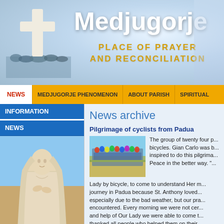[Figure (photo): Medjugorje website banner with a white cross, crowd of pilgrims, and blue sky. Title reads 'Medjugorje' with subtitle 'PLACE OF PRAYER AND RECONCILIATION']
Medjugorje
PLACE OF PRAYER AND RECONCILIATION
NEWS | MEDJUGORJE PHENOMENON | ABOUT PARISH | SPIRITUAL
INFORMATION
NEWS
[Figure (photo): Statue of the Virgin Mary / Our Lady, a white stone statue with hands folded, wearing a veil]
News archive
Pilgrimage of cyclists from Padua
[Figure (photo): Group of cyclists pilgrims gathered outdoors in a field]
The group of twenty four p... bicycles. Gian Carlo was b... inspired to do this pilgrima... Peace in the better way. "... Lady by bicycle, to come to understand Her m... journey in Padua because St. Anthony loved... especially due to the bad weather, but our pra... encountered. Every morning we were not cer... and help of Our Lady we were able to come t... thanked all people who helped them on their...